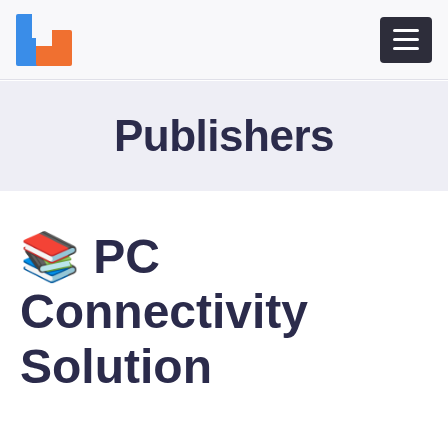Publishers — navigation bar with logo and menu button
Publishers
📚 PC Connectivity Solution